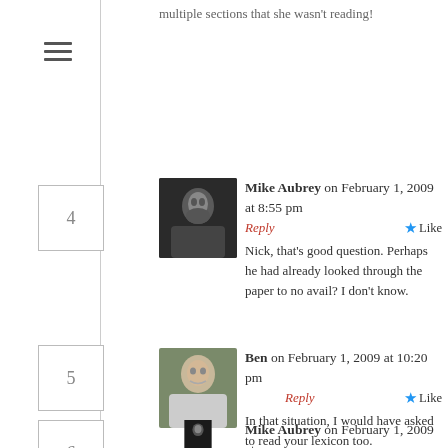multiple sections that she wasn't reading!
Mike Aubrey on February 1, 2009 at 8:55 pm  Reply  Like
Nick, that's good question. Perhaps he had already looked through the paper to no avail? I don't know.
Ben on February 1, 2009 at 10:20 pm  Reply  Like
In that situation, I would have asked to read your lexicon too.
Mike Aubrey on February 1, 2009 at